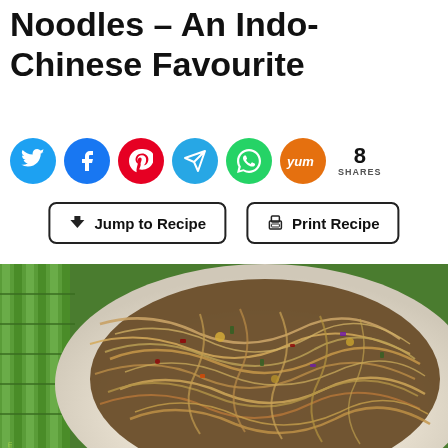Noodles – An Indo-Chinese Favourite
[Figure (other): Social media share icons: Twitter (blue), Facebook (blue), Pinterest (red), Telegram (light blue), WhatsApp (green), Yummly (orange), followed by share count: 8 SHARES]
[Figure (other): Two buttons: 'Jump to Recipe' with arrow icon, and 'Print Recipe' with printer icon]
[Figure (photo): Photo of a plate of stir-fried noodles with vegetables (Indo-Chinese style) on a white plate with green bamboo mat background. Watermark text visible in bottom-left corner.]